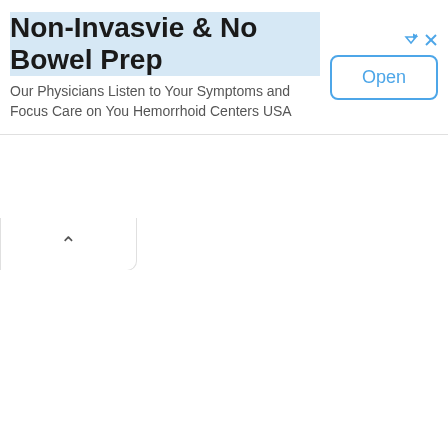Non-Invasvie & No Bowel Prep
Our Physicians Listen to Your Symptoms and Focus Care on You Hemorrhoid Centers USA
[Figure (other): Advertisement banner with Open button and close/arrow icons for Hemorrhoid Centers USA]
^